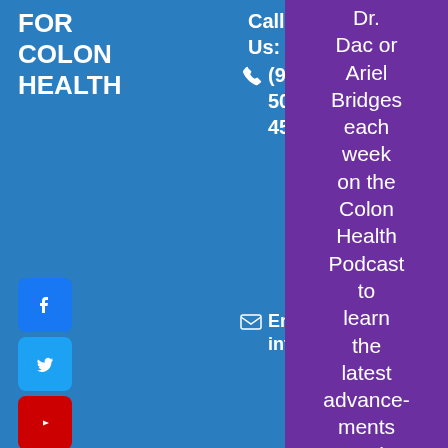FOR COLON HEALTH
[Figure (infographic): Social media icons: Facebook (blue), Twitter (light blue), YouTube (red)]
Call Us: (949) 502-4591
Email: info@colonoscopy.co
Not a Verified Member?
Create a Listing
Dr. Dac or Ariel Bridges each week on the Colon Health Podcast to learn the latest advancements and advice on